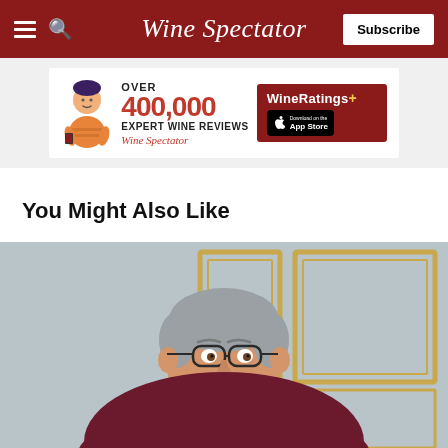Wine Spectator — Subscribe
[Figure (infographic): Advertisement banner: illustrated person with phone, text 'OVER 400,000 EXPERT WINE REVIEWS', Wine Spectator logo, WineRatings+ app with App Store button]
You Might Also Like
[Figure (photo): A smiling middle-aged man with short gray hair and glasses wearing a dark maroon polo shirt, seated in front of a gray wall with gold-framed panels]